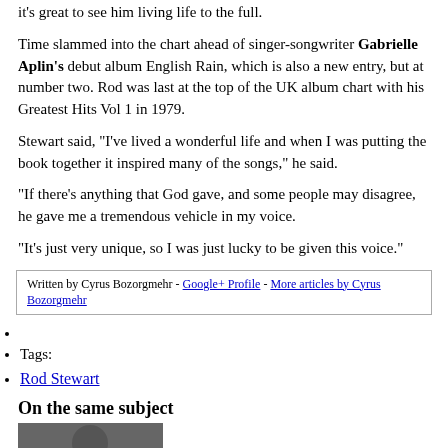it's great to see him living life to the full.
Time slammed into the chart ahead of singer-songwriter Gabrielle Aplin's debut album English Rain, which is also a new entry, but at number two. Rod was last at the top of the UK album chart with his Greatest Hits Vol 1 in 1979.
Stewart said, "I've lived a wonderful life and when I was putting the book together it inspired many of the songs," he said.
"If there's anything that God gave, and some people may disagree, he gave me a tremendous vehicle in my voice.
"It's just very unique, so I was just lucky to be given this voice."
Written by Cyrus Bozorgmehr - Google+ Profile - More articles by Cyrus Bozorgmehr
Tags:
Rod Stewart
On the same subject
[Figure (photo): A photo partially visible at the bottom of the page]